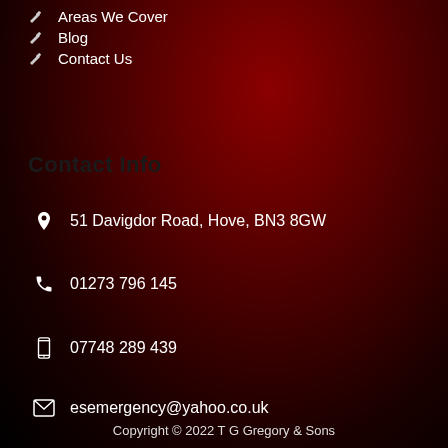Areas We Cover
Blog
Contact Us
Contact Info
51 Davigdor Road, Hove, BN3 8GW
01273 796 145
07748 289 439
esemergency@yahoo.co.uk
Copyright © 2022 T G Gregory & Sons